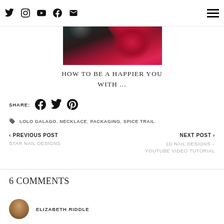Social icons: Twitter, Instagram, YouTube, Facebook, Email | Hamburger menu
[Figure (photo): Close-up photo of deep red/crimson roses against a dark teal background]
HOW TO BE A HAPPIER YOU WITH ...
SHARE: [Facebook] [Twitter] [Pinterest]
LOLO GALAGO, NECKLACE, PACKAGING, SPICE TRAIL
< PREVIOUS POST
STAR NAIL DESIGNS
NEXT POST >
1D NAIL DESIGNS – YOUTUBE VIDEO TUTORIAL
6 COMMENTS
ELIZABETH RIDDLE